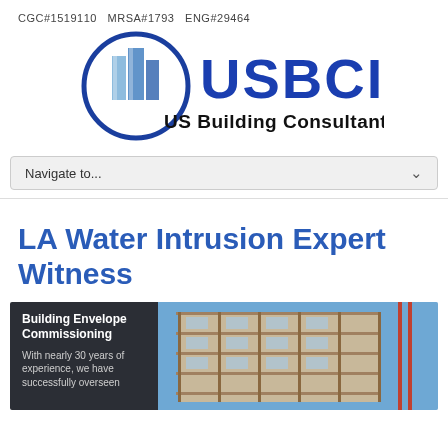CGC#1519110   MRSA#1793   ENG#29464
[Figure (logo): USBCI - US Building Consultants Inc. logo with blue building icon and bold blue text]
Navigate to...
LA Water Intrusion Expert Witness
[Figure (photo): Construction site with scaffolding on a multi-story building against a blue sky. Left panel shows dark background with text: 'Building Envelope Commissioning — With nearly 30 years of experience, we have successfully overseen']